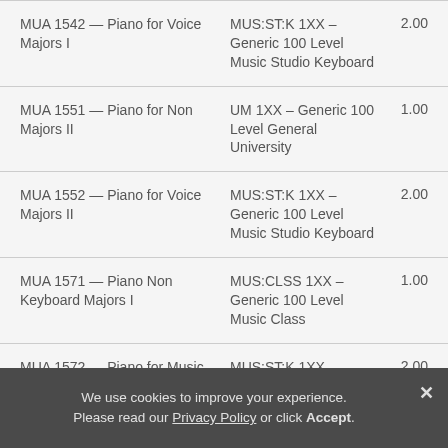| Course | Equivalent | Credits |
| --- | --- | --- |
| MUA 1542 — Piano for Voice Majors I | MUS:ST:K 1XX – Generic 100 Level Music Studio Keyboard | 2.00 |
| MUA 1551 — Piano for Non Majors II | UM 1XX – Generic 100 Level General University | 1.00 |
| MUA 1552 — Piano for Voice Majors II | MUS:ST:K 1XX – Generic 100 Level Music Studio Keyboard | 2.00 |
| MUA 1571 — Piano Non Keyboard Majors I | MUS:CLSS 1XX – Generic 100 Level Music Class | 1.00 |
| MUA 1572 — Piano for Music Education Majors I | MUS:ST:K 1XX – Generic 100 Level Music Studio Keyboard | 2.00 |
| MUA 1573 — Piano for Music Majors I | MUS:ST:K 1XX – Generic 100 Level Music Studio Keyboard | 3.00 |
We use cookies to improve your experience. Please read our Privacy Policy or click Accept.